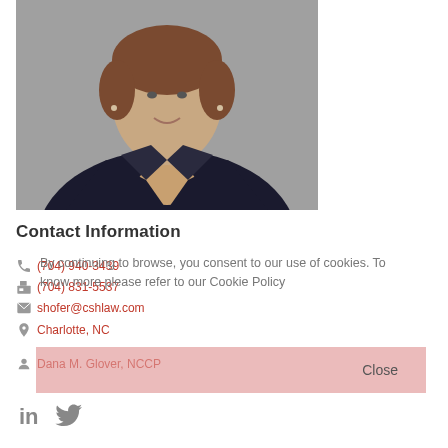[Figure (photo): Professional headshot of a woman with short brown hair wearing a dark blazer, against a gray background]
Contact Information
(704) 940-3439
(704) 831-5537
shofer@cshlaw.com
Charlotte, NC
Dana M. Glover, NCCP
By continuing to browse, you consent to our use of cookies. To know more please refer to our Cookie Policy
Close
[Figure (logo): LinkedIn and Twitter social media icons]